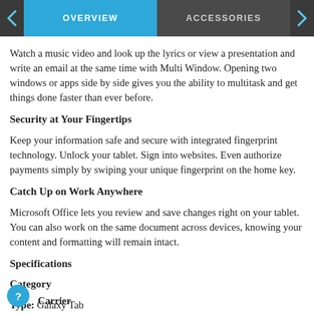OVERVIEW | ACCESSORIES
Watch a music video and look up the lyrics or view a presentation and write an email at the same time with Multi Window. Opening two windows or apps side by side gives you the ability to multitask and get things done faster than ever before.
Security at Your Fingertips
Keep your information safe and secure with integrated fingerprint technology. Unlock your tablet. Sign into websites. Even authorize payments simply by swiping your unique fingerprint on the home key.
Catch Up on Work Anywhere
Microsoft Office lets you review and save changes right on your tablet. You can also work on the same document across devices, knowing your content and formatting will remain intact.
Specifications
Category
Type: Galaxy Tab
Carrier